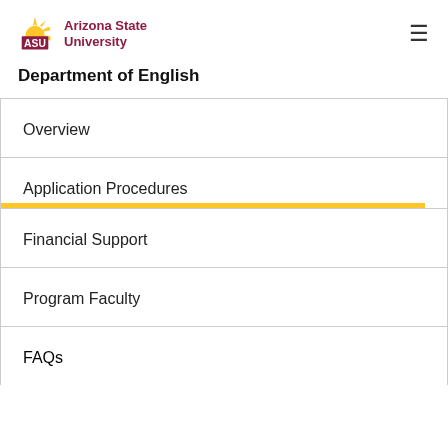ASU Arizona State University
Department of English
Overview
Application Procedures
Financial Support
Program Faculty
FAQs